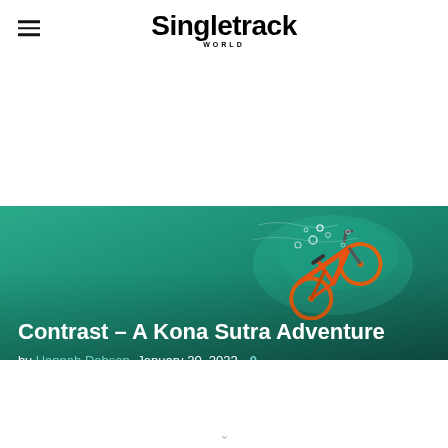Singletrack WORLD
[Figure (photo): Aerial or underwater view of an orange bicycle (Kona Sutra) submerged or floating in turquoise water, with bubbles visible around it. The bike appears to be sinking or being dropped into the sea.]
Contrast – A Kona Sutra Adventure
by Hannah Dobson  January 20, 2022  0